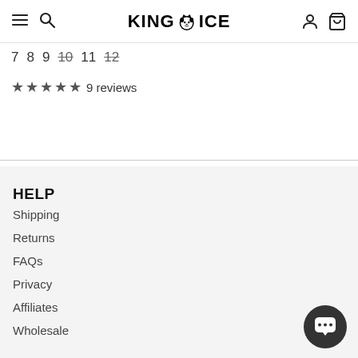KING ICE navigation header
7 8 9 10 (strikethrough) 11 12 (strikethrough)
★★★★★ 9 reviews
HELP
Shipping
Returns
FAQs
Privacy
Affiliates
Wholesale